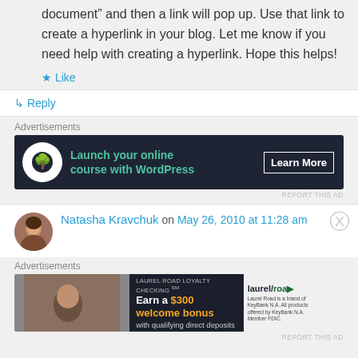document” and then a link will pop up. Use that link to create a hyperlink in your blog. Let me know if you need help with creating a hyperlink. Hope this helps!
★ Like
↳ Reply
Advertisements
[Figure (other): Advertisement banner: dark background, bonsai tree icon in white circle, text 'Launch your online course with WordPress', button 'Learn More']
REPORT THIS AD
Natasha Kravchuk on May 26, 2010 at 11:28 am
Advertisements
[Figure (other): Advertisement banner: Laurel Road Loyalty Checking, Earn a $300 welcome bonus with qualifying direct deposits, laurel road logo on right]